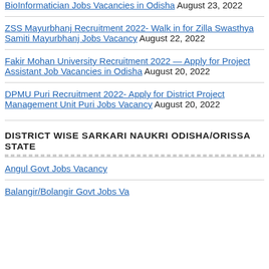BioInformatician Jobs Vacancies in Odisha August 23, 2022
ZSS Mayurbhanj Recruitment 2022- Walk in for Zilla Swasthya Samiti Mayurbhanj Jobs Vacancy August 22, 2022
Fakir Mohan University Recruitment 2022 — Apply for Project Assistant Job Vacancies in Odisha August 20, 2022
DPMU Puri Recruitment 2022- Apply for District Project Management Unit Puri Jobs Vacancy August 20, 2022
DISTRICT WISE SARKARI NAUKRI ODISHA/ORISSA STATE
Angul Govt Jobs Vacancy
Balangir/Bolangir Govt Jobs Vacancy